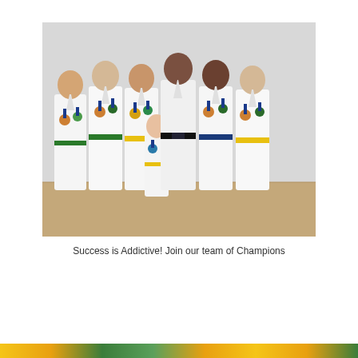[Figure (photo): Group photo of seven taekwondo students in white doboks (uniforms) standing in a row. Six are teenagers/adults and one is a young child in the front center. All are wearing medals around their necks. The belts visible are: green, green, yellow, yellow (child), black, blue/dark, yellow. They are posing indoors against a white wall on a wooden floor.]
Success is Addictive! Join our team of Champions